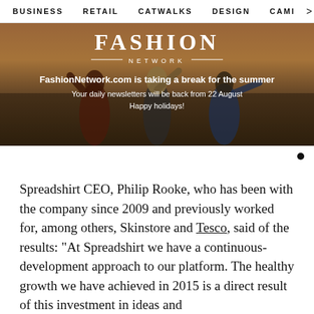BUSINESS   RETAIL   CATWALKS   DESIGN   CAMI  >
[Figure (illustration): Fashion Network banner image showing three young women from behind in a field at sunset with overlay text. Logo reads FASHION NETWORK. Text: FashionNetwork.com is taking a break for the summer. Your daily newsletters will be back from 22 August. Happy holidays!]
Spreadshirt CEO, Philip Rooke, who has been with the company since 2009 and previously worked for, among others, Skinstore and Tesco, said of the results: "At Spreadshirt we have a continuous-development approach to our platform. The healthy growth we have achieved in 2015 is a direct result of this investment in ideas and